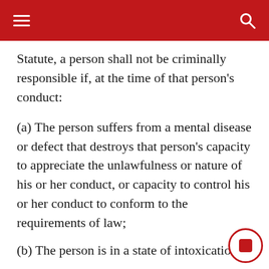Statute, a person shall not be criminally responsible if, at the time of that person's conduct:
(a) The person suffers from a mental disease or defect that destroys that person's capacity to appreciate the unlawfulness or nature of his or her conduct, or capacity to control his or her conduct to conform to the requirements of law;
(b) The person is in a state of intoxication that...